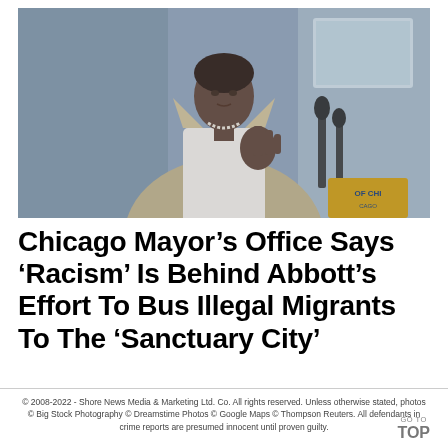[Figure (photo): A woman in a tan blazer gesturing with her right hand, standing at a podium with microphones, in front of a blue background. A screen is partially visible in the upper right.]
Chicago Mayor's Office Says 'Racism' Is Behind Abbott's Effort To Bus Illegal Migrants To The 'Sanctuary City'
© 2008-2022 - Shore News Media & Marketing Ltd. Co. All rights reserved. Unless otherwise stated, photos © Big Stock Photography © Dreamstime Photos © Google Maps © Thompson Reuters. All defendants in crime reports are presumed innocent until proven guilty.